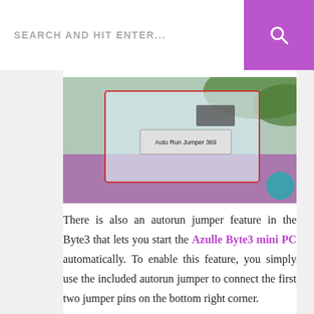SEARCH AND HIT ENTER...
[Figure (photo): Close-up photo of a clear plastic bag containing an 'Auto Run Jumper' component with a label visible, placed on a purple/teal surface with green foliage in background.]
There is also an autorun jumper feature in the Byte3 that lets you start the Azulle Byte3 mini PC automatically. To enable this feature, you simply use the included autorun jumper to connect the first two jumper pins on the bottom right corner.